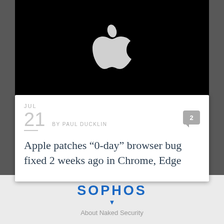[Figure (photo): Black background with white Apple logo centered in upper portion of page]
JUL
21  BY PAUL DUCKLIN
Apple patches “0-day” browser bug fixed 2 weeks ago in Chrome, Edge
[Figure (logo): SOPHOS logo in blue with downward pointing triangle arrow below]
About Naked Security